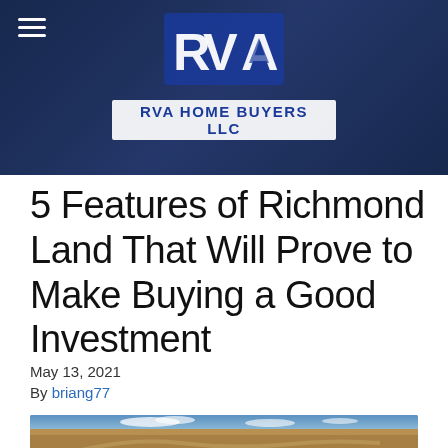[Figure (logo): RVA Home Buyers LLC logo on dark blue city skyline banner background with hamburger menu icon]
5 Features of Richmond Land That Will Prove to Make Buying a Good Investment
May 13, 2021
By briang77
[Figure (photo): Wide flat agricultural land under a partly cloudy sky, with a dirt road curving through the brown field]